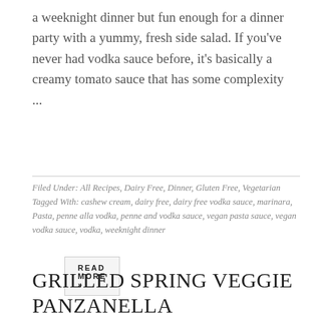a weeknight dinner but fun enough for a dinner party with a yummy, fresh side salad. If you've never had vodka sauce before, it's basically a creamy tomato sauce that has some complexity ...
READ MORE »
Filed Under: All Recipes, Dairy Free, Dinner, Gluten Free, Vegetarian
Tagged With: cashew cream, dairy free, dairy free vodka sauce, marinara, Pasta, penne alla vodka, penne and vodka sauce, vegan pasta sauce, vegan vodka sauce, vodka, weeknight dinner
GRILLED SPRING VEGGIE PANZANELLA
April 28, 2020 by Annie Chesson — 2 Comments